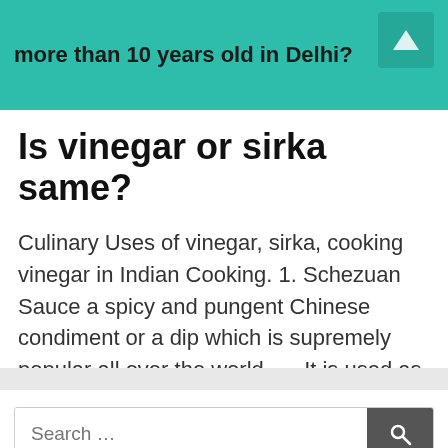more than 10 years old in Delhi?
Is vinegar or sirka same?
Culinary Uses of vinegar, sirka, cooking vinegar in Indian Cooking. 1. Schezuan Sauce a spicy and pungent Chinese condiment or a dip which is supremely popular all over the world. … It is used as a condiment and a dressing.
Attractions India